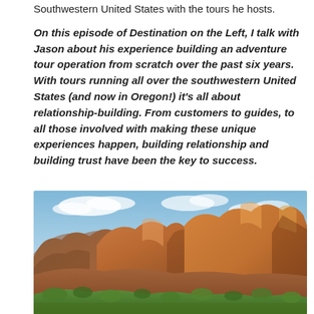Southwestern United States with the tours he hosts.
On this episode of Destination on the Left, I talk with Jason about his experience building an adventure tour operation from scratch over the past six years. With tours running all over the southwestern United States (and now in Oregon!) it's all about relationship-building. From customers to guides, to all those involved with making these unique experiences happen, building relationship and building trust have been the key to success.
[Figure (photo): Landscape photo of red rock canyon formations (likely Zion National Park) with blue sky, green trees in foreground and dramatic red sandstone cliffs.]